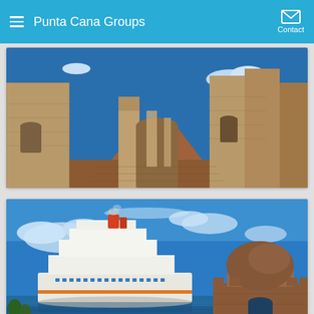Punta Cana Groups
[Figure (photo): Ancient stone ruins with arched doorways and brick pathway under blue sky]
[Figure (photo): Cruise ship in harbor with a domed stone fortification in the foreground under blue sky with clouds]